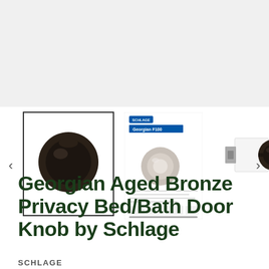[Figure (photo): Main product image area showing Georgian Aged Bronze door knob, light gray background placeholder]
[Figure (photo): Thumbnail 1 - selected: Dark bronze Georgian door knob on black background, highlighted with border]
[Figure (photo): Thumbnail 2 - Schlage Georgian knob product spec sheet showing satin nickel knob]
[Figure (photo): Thumbnail 3 - Side view of dark bronze Georgian knob with white mounting hardware]
Georgian Aged Bronze Privacy Bed/Bath Door Knob by Schlage
SCHLAGE